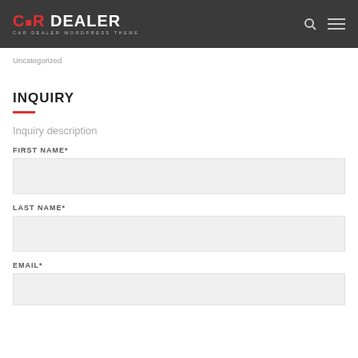[Figure (logo): Car Dealer WordPress Theme logo with red CAR and white DEALER text on dark background, with search and hamburger menu icons]
Uncategorized
INQUIRY
Inquiry description
FIRST NAME*
LAST NAME*
EMAIL*